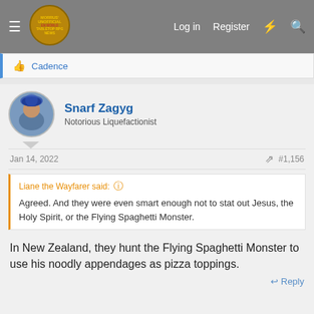Morrus' Unofficial Tabletop RPG News — Log in  Register
👍 Cadence
Snarf Zagyg
Notorious Liquefactionist
Jan 14, 2022    #1,156
Liane the Wayfarer said: ↑
Agreed. And they were even smart enough not to stat out Jesus, the Holy Spirit, or the Flying Spaghetti Monster.
In New Zealand, they hunt the Flying Spaghetti Monster to use his noodly appendages as pizza toppings.
↩ Reply